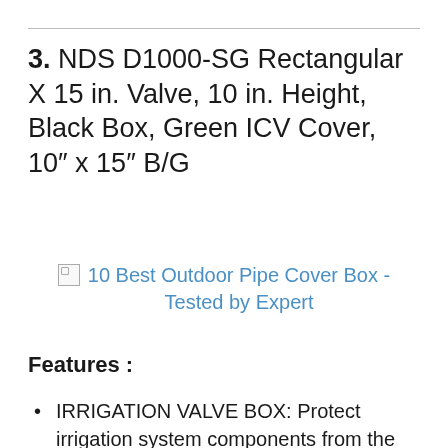3. NDS D1000-SG Rectangular X 15 in. Valve, 10 in. Height, Black Box, Green ICV Cover, 10″ x 15″ B/G
[Figure (illustration): Broken image placeholder with link text: 10 Best Outdoor Pipe Cover Box - Tested by Expert]
Features :
IRRIGATION VALVE BOX: Protect irrigation system components from the elements, foot traffic, lawncare